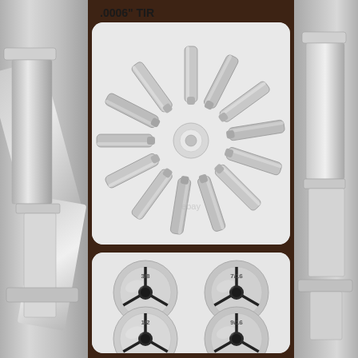.0006" TIR
[Figure (photo): Circular arrangement of steel collets fanned out in a starburst/pinwheel pattern on a white background, with 'ebay' watermark visible. Approximately 13-15 cylindrical tapered collets arranged with their tips meeting at the center.]
[Figure (photo): Four steel collets shown face-on in a 2x2 grid arrangement, each labeled with fractional inch sizes: 3/8 (top left), 7/16 (top right), 1/2 (bottom left), 9/16 (bottom right). Each collet is a round disc with three slots and a central screw.]